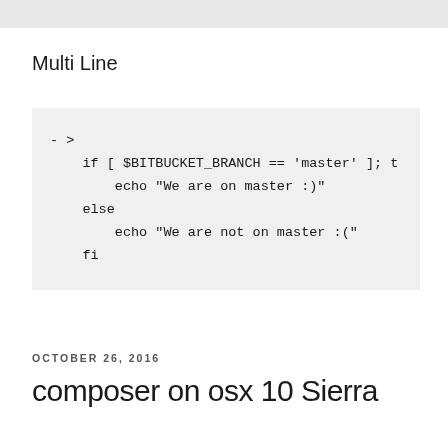Multi Line
- >
    if [ $BITBUCKET_BRANCH == 'master' ]; t
        echo "We are on master :)"
    else
        echo "We are not on master :("
    fi
OCTOBER 26, 2016
composer on osx 10 Sierra